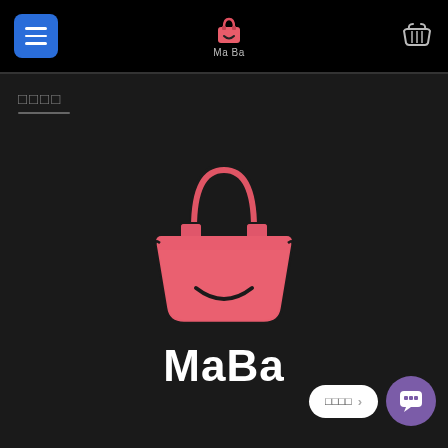[Figure (logo): MaBa app navigation bar with hamburger menu button (blue), MaBa shopping bag logo icon (red) in center with 'Ma Ba' text below, and shopping basket icon (white) on right, all on black background]
□□□□
[Figure (logo): Large MaBa logo: pink/red tote shopping bag with smile face icon, below which is bold white 'MaBa' wordmark text, on dark background]
□□□□ →
[Figure (other): Purple circular chat/messaging button icon]